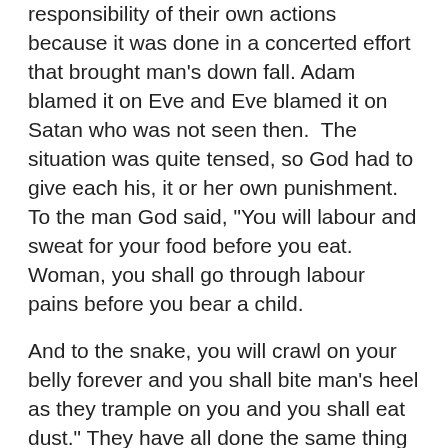responsibility of their own actions because it was done in a concerted effort that brought man's down fall. Adam blamed it on Eve and Eve blamed it on Satan who was not seen then.  The situation was quite tensed, so God had to give each his, it or her own punishment. To the man God said, "You will labour and sweat for your food before you eat. Woman, you shall go through labour pains before you bear a child.
And to the snake, you will crawl on your belly forever and you shall bite man's heel as they trample on you and you shall eat dust." They have all done the same thing since then. Man is now suffering day in day out, women suffer with child birth, snakes go crawling and bite people on their heels eating enough dust.
It may not have been man's intention but they blamed it on Satan and today we all blame wrong doings on Satan who goes quietly. Man has known sin since then and it has continued. God has not come of recent to ask stop sinning but has rather left nature to take its course.  Man kills man